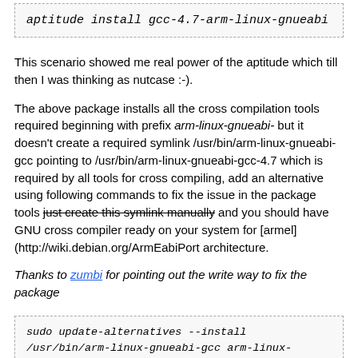aptitude install gcc-4.7-arm-linux-gnueabi
This scenario showed me real power of the aptitude which till then I was thinking as nutcase :-).
The above package installs all the cross compilation tools required beginning with prefix arm-linux-gnueabi- but it doesn't create a required symlink /usr/bin/arm-linux-gnueabi-gcc pointing to /usr/bin/arm-linux-gnueabi-gcc-4.7 which is required by all tools for cross compiling, add an alternative using following commands to fix the issue in the package tools just create this symlink manually and you should have GNU cross compiler ready on your system for [armel] (http://wiki.debian.org/ArmEabiPort architecture.
Thanks to zumbi for pointing out the write way to fix the package
sudo update-alternatives --install /usr/bin/arm-linux-gnueabi-gcc arm-linux-gnueabi-gcc /usr/bin/arm-linux-gnueabi-gcc-4.7 46
        --slave /usr/bin/arm-linux-